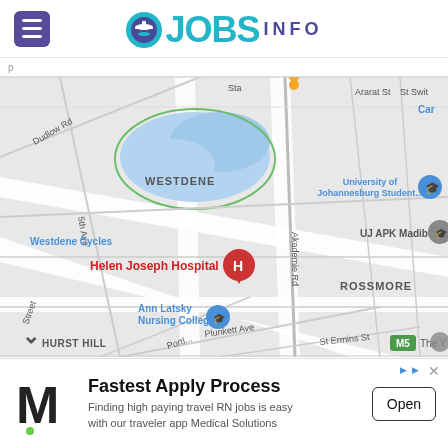JOBS INFO
[Figure (map): Google Maps screenshot showing Helen Joseph Hospital area in Johannesburg, South Africa. Visible landmarks: University of Johannesburg Student..., UJ APK Madibe..., Westdene Cycles, Ann Latsky Nursing College, ROSSMORE, HURST HILL, WESTDENE. Roads include Akademie Rd, Plunkett Ave, St Ermins St, Portland... Red H marker for Helen Joseph Hospital.]
[Figure (infographic): Advertisement banner: M logo (Medical Solutions) with text 'Fastest Apply Process - Finding high paying travel RN jobs is easy with our traveler app Medical Solutions' and an 'Open' button.]